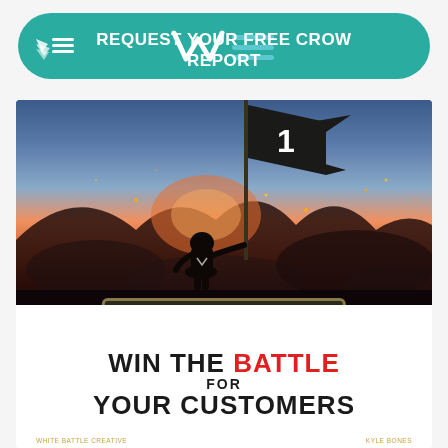[Figure (illustration): Teal/green rounded pill-shaped call-to-action button with wing icon on the left, stylized W logo, horizontal lines icon, and centered text 'REQUEST YOUR FREE CROW REPORT' in white bold uppercase letters on a teal background.]
[Figure (illustration): Book cover for 'Marketing Is War: Win the Battle for Your Customers'. Top half shows a soldier silhouette standing before a dramatic orange and blue battle sky, holding a tall flagpole with a black flag bearing the number '1'. A dark badge with gold border reads 'MARKETING IS WAR' in spaced monospace letters. Bottom half on white background shows bold black text 'WIN THE BATTLE FOR YOUR CUSTOMERS' with 'BATTLE' in red. Small gold author credits at the bottom corners.]